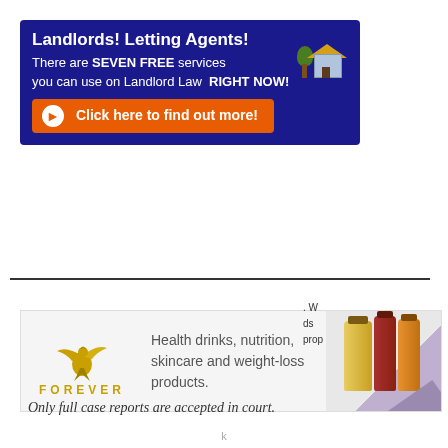[Figure (infographic): Blue banner advertisement for Landlord Law. Text: 'Landlords! Letting Agents! There are SEVEN FREE services you can use on Landlord Law RIGHT NOW!' with orange 'Click here to find out more!' button and house/tree icon.]
[Figure (infographic): Forever Living advertisement with gold eagle logo, text 'Health drinks, nutrition, skincare and weight-loss products.' and product bottles with purple 'BUY NOW' banner.]
[Figure (infographic): Teal chat widget: 'Want to ask a Solicitor online now? I can connect you ...' with avatar photo of a woman and red notification badge showing '1'.]
Only full case reports are accepted in court.